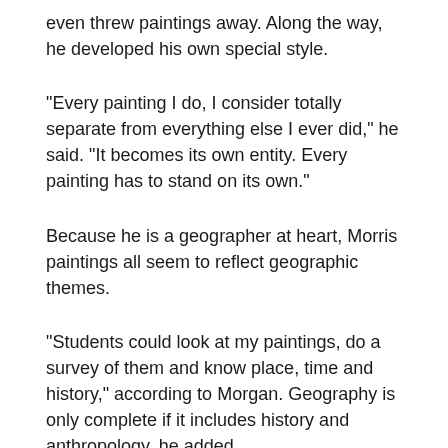even threw paintings away. Along the way, he developed his own special style.
"Every painting I do, I consider totally separate from everything else I ever did," he said. "It becomes its own entity. Every painting has to stand on its own."
Because he is a geographer at heart, Morris paintings all seem to reflect geographic themes.
"Students could look at my paintings, do a survey of them and know place, time and history," according to Morgan. Geography is only complete if it includes history and anthropology, he added.
Some of his work has hidden meaning, such as the eerie painting entitled "Bog Men March on an Oxidizing Planet."  The wavy trees actually take on the profiles of people. It's his way of showing that [hu...